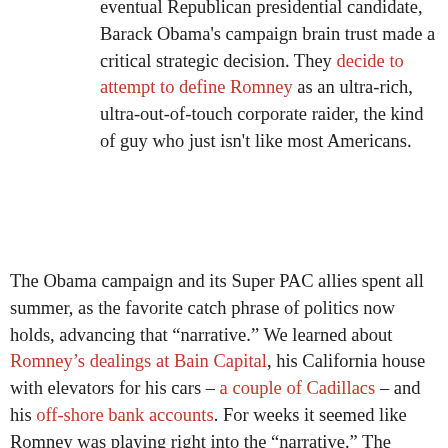eventual Republican presidential candidate, Barack Obama's campaign brain trust made a critical strategic decision. They decide to attempt to define Romney as an ultra-rich, ultra-out-of-touch corporate raider, the kind of guy who just isn't like most Americans.
The Obama campaign and its Super PAC allies spent all summer, as the favorite catch phrase of politics now holds, advancing that “narrative.” We learned about Romney’s dealings at Bain Capital, his California house with elevators for his cars – a couple of Cadillacs – and his off-shore bank accounts. For weeks it seemed like Romney was playing right into the “narrative.” The pundits talked endlessly of the need to “humanize” the corporate CEO and Romney steadfastly refused to release any more than two years of his very well-to-do income tax returns.